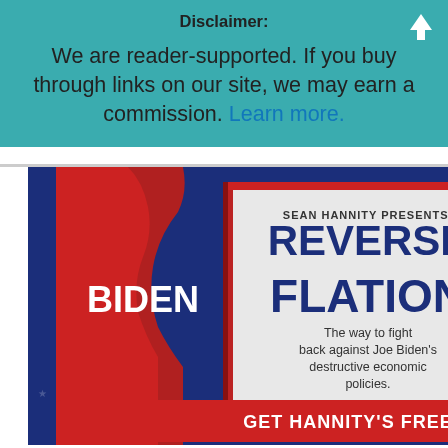Disclaimer:
We are reader-supported. If you buy through links on our site, we may earn a commission. Learn more.
[Figure (illustration): Book advertisement: 'Sean Hannity Presents: REVERSE BIDENFLATION - The way to fight back against Joe Biden's destructive economic policies.' Dark blue background with red and white book cover featuring a silhouette. Red button at bottom reading 'GET HANNITY'S FREE REPORT ›']